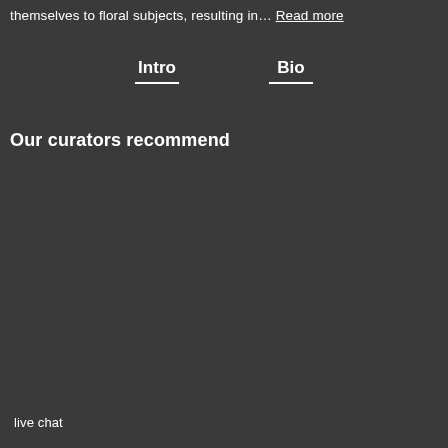themselves to floral subjects, resulting in… Read more
Intro
Bio
Our curators recommend
live chat